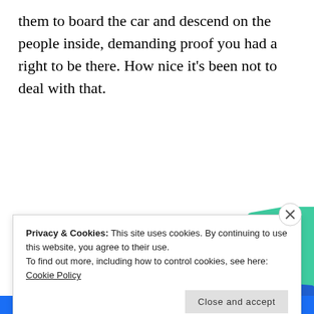them to board the car and descend on the people inside, demanding proof you had a right to be there. How nice it’s been not to deal with that.
[Figure (other): Advertisement for a podcast app featuring large bold text 'for podcast lovers.' with a red 'Download now' link and images of podcast app cards including a '99% Invisible' card on a black grid background and a green card.]
Privacy & Cookies: This site uses cookies. By continuing to use this website, you agree to their use.
To find out more, including how to control cookies, see here: Cookie Policy
Close and accept
BROWSING